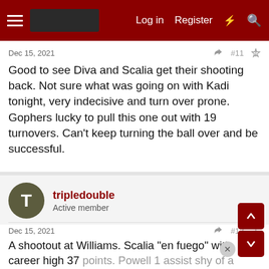Log in  Register
Dec 15, 2021  #11
Good to see Diva and Scalia get their shooting back. Not sure what was going on with Kadi tonight, very indecisive and turn over prone. Gophers lucky to pull this one out with 19 turnovers. Can't keep turning the ball over and be successful.
tripledouble
Active member
Dec 15, 2021  #12
A shootout at Williams. Scalia "en fuego" with career high 37 points. Powell 1 assist shy of a triple double with 18 points, 11 boards. 9 assists. Hubbard with a solid game off the bench. 14 points. She is 11 of 11 from the FT line this year. Defense lacking against an Ohio team that shot very well.